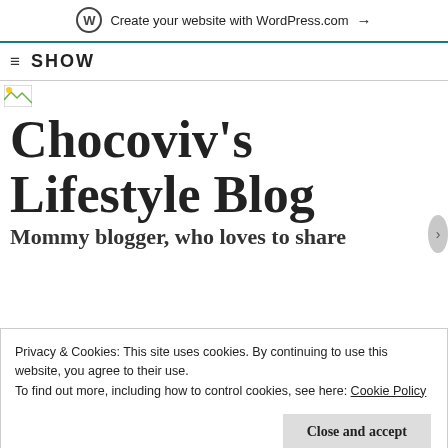Create your website with WordPress.com →
≡ SHOW
[Figure (screenshot): Small broken image placeholder icon]
Chocoviv's Lifestyle Blog
Mommy blogger, who loves to share
Privacy & Cookies: This site uses cookies. By continuing to use this website, you agree to their use.
To find out more, including how to control cookies, see here: Cookie Policy
Close and accept